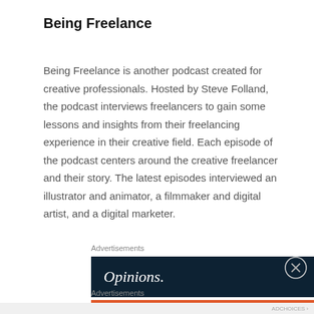Being Freelance
Being Freelance is another podcast created for creative professionals. Hosted by Steve Folland, the podcast interviews freelancers to gain some lessons and insights from their freelancing experience in their creative field. Each episode of the podcast centers around the creative freelancer and their story. The latest episodes interviewed an illustrator and animator, a filmmaker and digital artist, and a digital marketer.
Advertisements
[Figure (other): Advertisement banner with dark navy background showing the word 'Opinions.' in white italic text and WordPress/news logos on the right]
Advertisements
[Figure (other): DuckDuckGo advertisement banner: orange left section with text 'Search, browse, and email with more privacy. All in One Free App', dark right section with DuckDuckGo logo and wordmark]